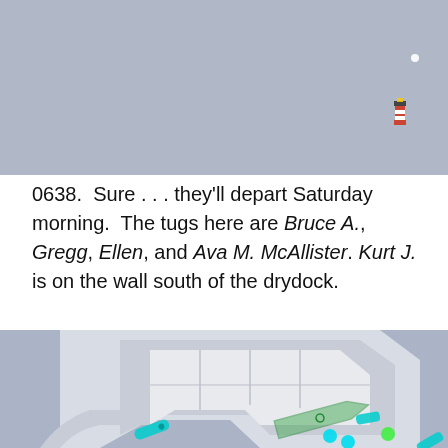[Figure (map): Top portion of a nautical/port map showing water (blue-grey) with a lighthouse/beacon icon in the upper right area, and a small white dot above it.]
0638.  Sure . . . they'll depart Saturday morning.  The tugs here are Bruce A., Gregg, Ellen, and Ava M. McAllister.  Kurt J. is on the wall south of the drydock.
[Figure (map): Bottom portion of a nautical/port map showing a drydock facility with grey water, white dock structures, and several vessel markers in teal/cyan and green colors positioned near the dock wall south of the drydock.]